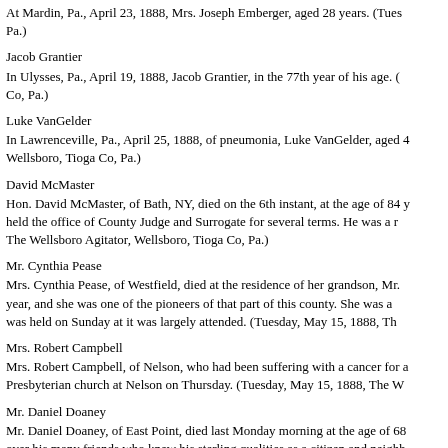At Mardin, Pa., April 23, 1888, Mrs. Joseph Emberger, aged 28 years.  (Tues Pa.)
Jacob Grantier
In Ulysses, Pa., April 19, 1888, Jacob Grantier, in the 77th year of his age.  ( Co, Pa.)
Luke VanGelder
In Lawrenceville, Pa., April 25, 1888, of pneumonia, Luke VanGelder, aged 4 Wellsboro, Tioga Co, Pa.)
David McMaster
Hon. David McMaster, of Bath, NY, died on the 6th instant, at the age of 84 y held the office of County Judge and Surrogate for several terms.  He was a r The Wellsboro Agitator, Wellsboro, Tioga Co, Pa.)
Mr. Cynthia Pease
Mrs. Cynthia Pease, of Westfield, died at the residence of her grandson, Mr. year, and she was one of the pioneers of that part of this county.  She was a was held on Sunday at it was largely attended.  (Tuesday, May 15, 1888, Th
Mrs. Robert Campbell
Mrs. Robert Campbell, of Nelson, who had been suffering with a cancer for a Presbyterian church at Nelson on Thursday.  (Tuesday, May 15, 1888, The W
Mr. Daniel Doaney
Mr. Daniel Doaney, of East Point, died last Monday morning at the age of 68 over his many friends who knew his sterling qualities as a citizen and neighb his funeral, which was held on Tuesday, was conducted by the Order.  Rev. M services by Rev. A. R. Miller.  The singing, which was excellent, was by the L Wellsboro, Tioga Co, Pa.)